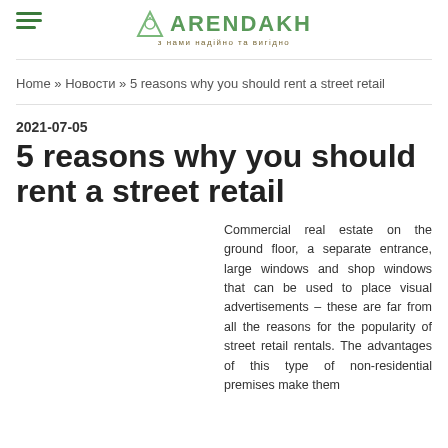ARENDAKH з нами надійно та вигідно
Home » Новости » 5 reasons why you should rent a street retail
2021-07-05
5 reasons why you should rent a street retail
Commercial real estate on the ground floor, a separate entrance, large windows and shop windows that can be used to place visual advertisements – these are far from all the reasons for the popularity of street retail rentals. The advantages of this type of non-residential premises make them